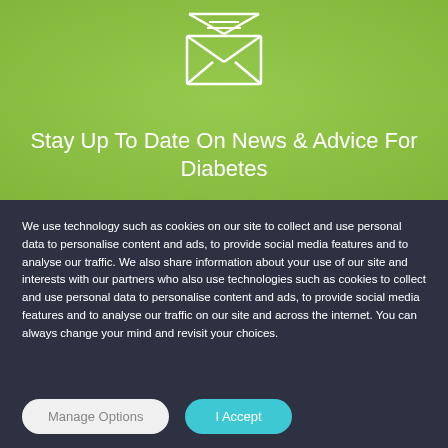[Figure (illustration): White envelope icon with letter lines inside, open flap, on green background]
Stay Up To Date On News & Advice For Diabetes
We use technology such as cookies on our site to collect and use personal data to personalise content and ads, to provide social media features and to analyse our traffic. We also share information about your use of our site and interests with our partners who also use technologies such as cookies to collect and use personal data to personalise content and ads, to provide social media features and to analyse our traffic on our site and across the internet. You can always change your mind and revisit your choices.
Manage Options
I Accept